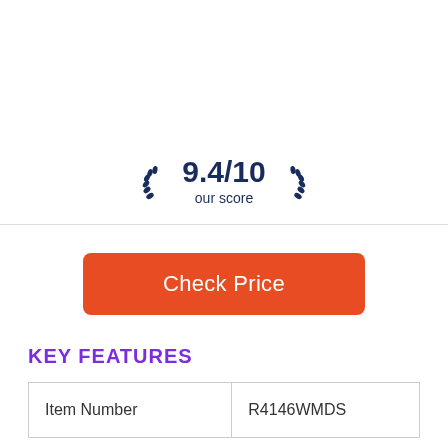[Figure (infographic): Score badge with laurel wreaths showing 9.4/10 our score in dark navy color]
[Figure (infographic): Red rounded rectangle button labeled Check Price]
KEY FEATURES
| Item Number | R4146WMDS |